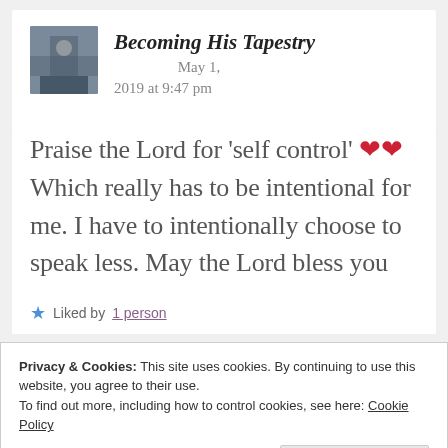Becoming His Tapestry — May 1, 2019 at 9:47 pm
Praise the Lord for 'self control' ❤❤ Which really has to be intentional for me. I have to intentionally choose to speak less. May the Lord bless you
Liked by 1 person
Privacy & Cookies: This site uses cookies. By continuing to use this website, you agree to their use. To find out more, including how to control cookies, see here: Cookie Policy
Close and accept
Vivian — May 2, 2019 at 8:34 am